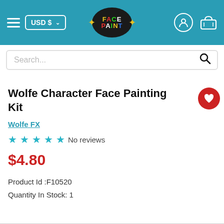USD $ | Face Paint | [user icon] [cart icon]
Search...
Wolfe Character Face Painting Kit
Wolfe FX
☆☆☆☆☆ No reviews
$4.80
Product Id :F10520
Quantity In Stock: 1